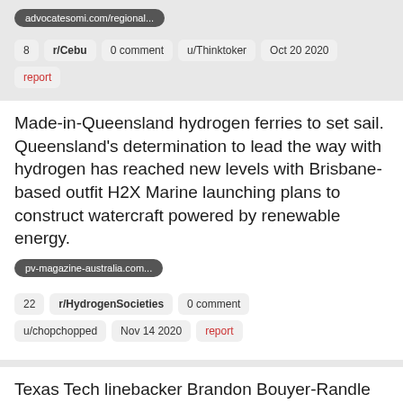advocatesomi.com/regional...
8  r/Cebu  0 comment  u/Thinktoker  Oct 20 2020
report
Made-in-Queensland hydrogen ferries to set sail. Queensland's determination to lead the way with hydrogen has reached new levels with Brisbane-based outfit H2X Marine launching plans to construct watercraft powered by renewable energy.
pv-magazine-australia.com...
22  r/HydrogenSocieties  0 comment
u/chopchopped  Nov 14 2020  report
Texas Tech linebacker Brandon Bouyer-Randle arrested on evading in watercraft